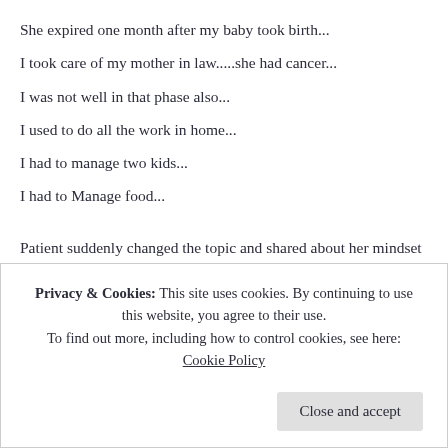She expired one month after my baby took birth...
I took care of my mother in law.....she had cancer...
I was not well in that phase also...
I used to do all the work in home...
I had to manage two kids...
I had to Manage food...
Patient suddenly changed the topic and shared about her mindset curr
Even if anyone tells me anything...opposite...etc...
Cookie banner overlay: Privacy & Cookies: This site uses cookies. By continuing to use this website, you agree to their use. To find out more, including how to control cookies, see here: Cookie Policy. Close and accept.